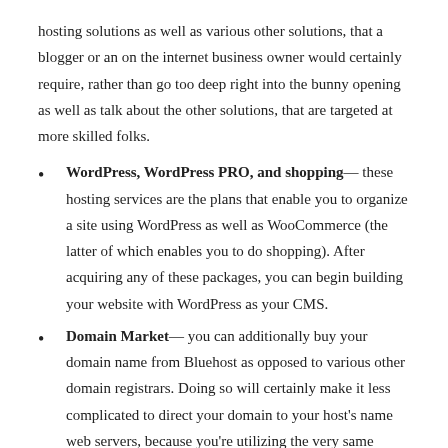hosting solutions as well as various other solutions, that a blogger or an on the internet business owner would certainly require, rather than go too deep right into the bunny opening as well as talk about the other solutions, that are targeted at more skilled folks.
WordPress, WordPress PRO, and shopping— these hosting services are the plans that enable you to organize a site using WordPress as well as WooCommerce (the latter of which enables you to do shopping). After acquiring any of these packages, you can begin building your website with WordPress as your CMS.
Domain Market— you can additionally buy your domain name from Bluehost as opposed to various other domain registrars. Doing so will certainly make it less complicated to direct your domain to your host's name web servers, because you're utilizing the very same market.
Email— once you have bought your domain name, it makes good sense to likewise get an e-mail address connected to